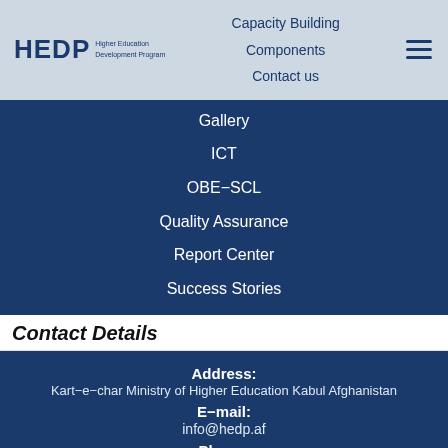[Figure (logo): HEDP logo with text 'Higher Education Development Program']
Capacity Building
Components
Contact us
Gallery
ICT
OBE-SCL
Quality Assurance
Report Center
Success Stories
Contact Details
Address:
Kart-e-char Ministry of Higher Education Kabul Afghanistan
E-mail:
info@hedp.af
Phone:
Tel: +93 (0) 202512616
Mob:
Website: